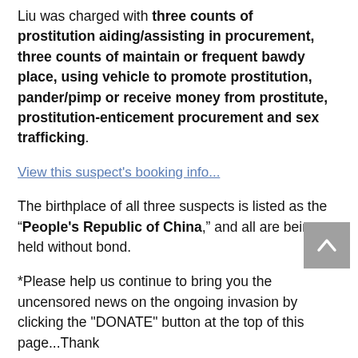Liu was charged with three counts of prostitution aiding/assisting in procurement, three counts of maintain or frequent bawdy place, using vehicle to promote prostitution, pander/pimp or receive money from prostitute, prostitution-enticement procurement and sex trafficking.
View this suspect's booking info...
The birthplace of all three suspects is listed as the "People's Republic of China," and all are being held without bond.
*Please help us continue to bring you the uncensored news on the ongoing invasion by clicking the "DONATE" button at the top of this page...Thank